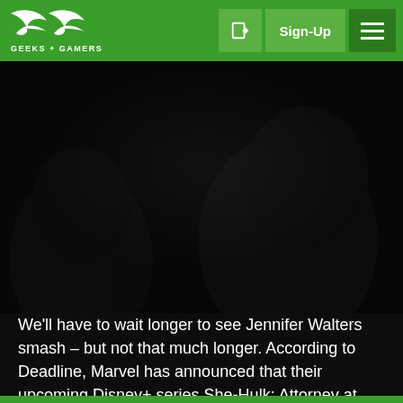GEEKS + GAMERS — Sign-Up
[Figure (photo): Dark moody image, appears to show silhouetted figures in a dark scene, likely promotional imagery for She-Hulk: Attorney at Law]
We'll have to wait longer to see Jennifer Walters smash – but not that much longer. According to Deadline, Marvel has announced that their upcoming Disney+ series She-Hulk: Attorney at Law will be delayed exactly one day, premiering on the streaming service on Thursday, August 18, rather than We...